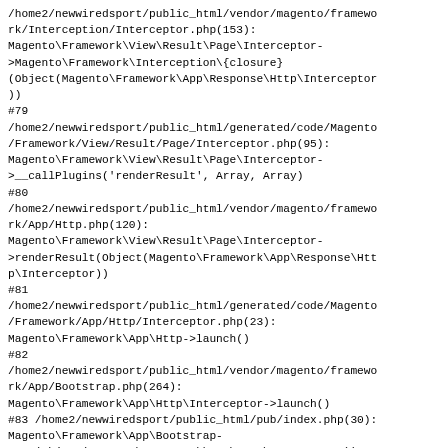/home2/newwiredsport/public_html/vendor/magento/framework/Interception/Interceptor.php(153): Magento\Framework\View\Result\Page\Interceptor->Magento\Framework\Interception\{closure}(Object(Magento\Framework\App\Response\Http\Interceptor))
#79
/home2/newwiredsport/public_html/generated/code/Magento/Framework/View/Result/Page/Interceptor.php(95): Magento\Framework\View\Result\Page\Interceptor->__callPlugins('renderResult', Array, Array)
#80
/home2/newwiredsport/public_html/vendor/magento/framework/App/Http.php(120): Magento\Framework\View\Result\Page\Interceptor->renderResult(Object(Magento\Framework\App\Response\Http\Interceptor))
#81
/home2/newwiredsport/public_html/generated/code/Magento/Framework/App/Http/Interceptor.php(23): Magento\Framework\App\Http->launch()
#82
/home2/newwiredsport/public_html/vendor/magento/framework/App/Bootstrap.php(264): Magento\Framework\App\Http\Interceptor->launch()
#83 /home2/newwiredsport/public_html/pub/index.php(30): Magento\Framework\App\Bootstrap->run(Object(Magento\Framework\App\Http\Interceptor))
#84 {main}